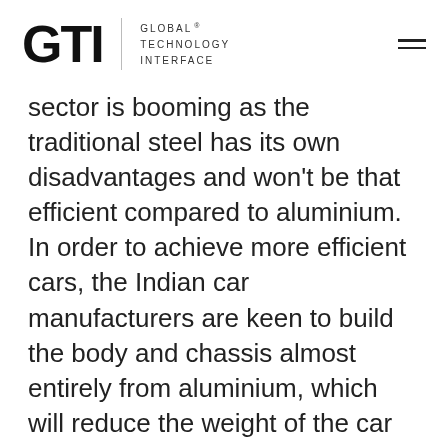GTI — Global Technology Interface (logo)
sector is booming as the traditional steel has its own disadvantages and won't be that efficient compared to aluminium. In order to achieve more efficient cars, the Indian car manufacturers are keen to build the body and chassis almost entirely from aluminium, which will reduce the weight of the car and improve the speed of the vehicle. Aluminium demand in EVs will be compounded by growing demand in ICVs in general. We can expect a growth CAGR 7.5 % in especially for the EV